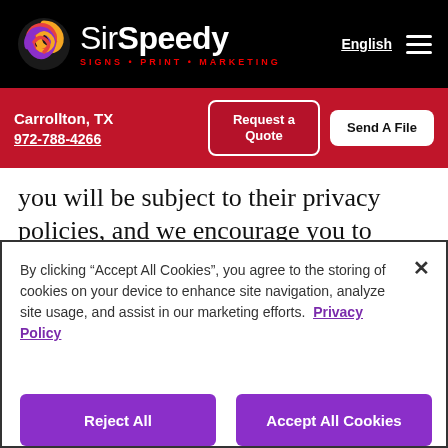[Figure (logo): SirSpeedy logo with colorful swirl icon and tagline SIGNS · PRINT · MARKETING on black background]
English  ☰
Carrollton, TX  972-788-4266  Request a Quote  Send A File
you will be subject to their privacy policies, and we encourage you to become familiar with that party's privacy policies as these may differ from those utilized on our Site. Please note that this privacy statement applies solely to
By clicking "Accept All Cookies", you agree to the storing of cookies on your device to enhance site navigation, analyze site usage, and assist in our marketing efforts.  Privacy Policy
Reject All  Accept All Cookies